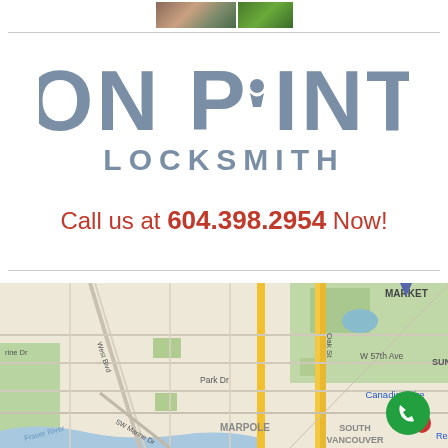[Figure (photo): Partial thumbnail images at top of page]
[Figure (logo): On Point Locksmith logo with keyhole in letter O, grey/blue color]
Call us at 604.398.2954 Now!
[Figure (map): Google Maps screenshot showing Marpole/South Vancouver area with streets including W 57th Ave, Oak St, West Blvd, Park Dr, SW Marine Dr, Fraser River, landmarks Canadian Tire, MARKET, SUNS(et), phone call button overlay]